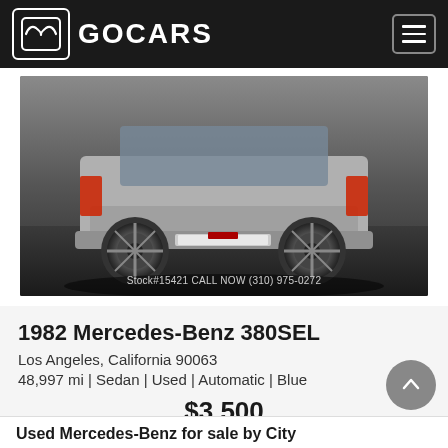GOCARS
[Figure (photo): Rear view of a 1982 Mercedes-Benz 380SEL sedan in a studio/showroom setting, dark gray background, with watermark text: Stock#15421 CALL NOW (310) 975-0272]
1982 Mercedes-Benz 380SEL
Los Angeles, California 90063
48,997 mi | Sedan | Used | Automatic | Blue
$3,500
Used Mercedes-Benz for sale by City